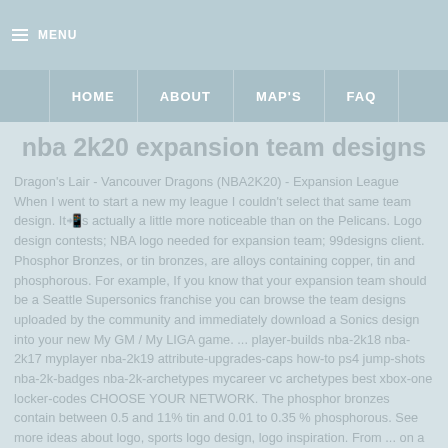MENU
HOME   ABOUT   MAP'S   FAQ
nba 2k20 expansion team designs
Dragon's Lair - Vancouver Dragons (NBA2K20) - Expansion League When I went to start a new my league I couldn't select that same team design. It's actually a little more noticeable than on the Pelicans. Logo design contests; NBA logo needed for expansion team; 99designs client. Phosphor Bronzes, or tin bronzes, are alloys containing copper, tin and phosphorous. For example, If you know that your expansion team should be a Seattle Supersonics franchise you can browse the team designs uploaded by the community and immediately download a Sonics design into your new My GM / My LIGA game. ... player-builds nba-2k18 nba-2k17 myplayer nba-2k19 attribute-upgrades-caps how-to ps4 jump-shots nba-2k-badges nba-2k-archetypes mycareer vc archetypes best xbox-one locker-codes CHOOSE YOUR NETWORK. The phosphor bronzes contain between 0.5 and 11% tin and 0.01 to 0.35 % phosphorous. See more ideas about logo, sports logo design, logo inspiration. From ... on a basketball